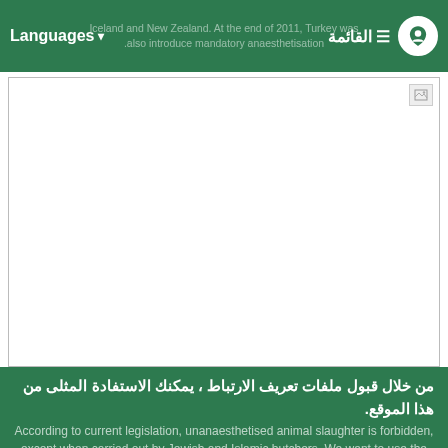Languages | القائمة | Iceland and New Zealand. At the end of 2011, Turkey was also introduce mandatory anaesthetisation.
[Figure (photo): Blank/broken image placeholder with a broken image icon in the top right corner]
من خلال قبول ملفات تعريف الارتباط ، يمكنك الاستفادة المثلى من هذا الموقع.
According to current legislation, unanaesthetised animal slaughter is forbidden, except when carried out by Jewish and Islamic butchers. We want to use the unanaesthetised ritual slaughter private member's bill' to remove this
لماذا ملفات تعريف الارتباط مطلوبة؟
قبول